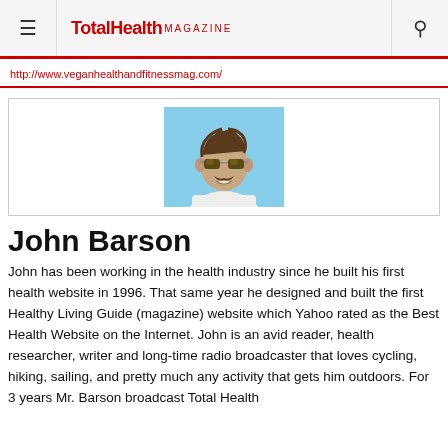TotalHealth MAGAZINE
http://www.veganhealthandfitnessmag.com/
[Figure (photo): Headshot of John Barson, a middle-aged man with sunglasses and a mustache, wearing a white t-shirt, smiling, with a blue sky background.]
John Barson
John has been working in the health industry since he built his first health website in 1996. That same year he designed and built the first Healthy Living Guide (magazine) website which Yahoo rated as the Best Health Website on the Internet. John is an avid reader, health researcher, writer and long-time radio broadcaster that loves cycling, hiking, sailing, and pretty much any activity that gets him outdoors. For 3 years Mr. Barson broadcast Total Health